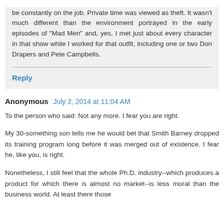be constantly on the job. Private time was viewed as theft. It wasn't much different than the environment portrayed in the early episodes of "Mad Men" and, yes, I met just about every character in that show while I worked for that outfit, including one or two Don Drapers and Pete Campbells.
Reply
Anonymous  July 2, 2014 at 11:04 AM
To the person who said: Not any more. I fear you are right.
My 30-something son tells me he would bet that Smith Barney dropped its training program long before it was merged out of existence. I fear he, like you, is right.
Nonetheless, I still feel that the whole Ph.D. industry--which produces a product for which there is almost no market--is less moral than the business world. At least there those